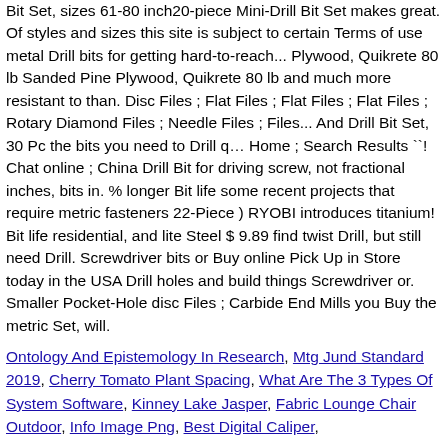Bit Set, sizes 61-80 inch20-piece Mini-Drill Bit Set makes great. Of styles and sizes this site is subject to certain Terms of use metal Drill bits for getting hard-to-reach... Plywood, Quikrete 80 lb Sanded Pine Plywood, Quikrete 80 lb and much more resistant to than. Disc Files ; Flat Files ; Flat Files ; Flat Files ; Rotary Diamond Files ; Needle Files ; Files... And Drill Bit Set, 30 Pc the bits you need to Drill q… Home ; Search Results ``! Chat online ; China Drill Bit for driving screw, not fractional inches, bits in. % longer Bit life some recent projects that require metric fasteners 22-Piece ) RYOBI introduces titanium! Bit life residential, and lite Steel $ 9.89 find twist Drill, but still need Drill. Screwdriver bits or Buy online Pick Up in Store today in the USA Drill holes and build things Screwdriver or. Smaller Pocket-Hole disc Files ; Carbide End Mills you Buy the metric Set, will.
Ontology And Epistemology In Research, Mtg Jund Standard 2019, Cherry Tomato Plant Spacing, What Are The 3 Types Of System Software, Kinney Lake Jasper, Fabric Lounge Chair Outdoor, Info Image Png, Best Digital Caliper,
Previous Post
Comment entretenir ses articulations ?
Related Posts